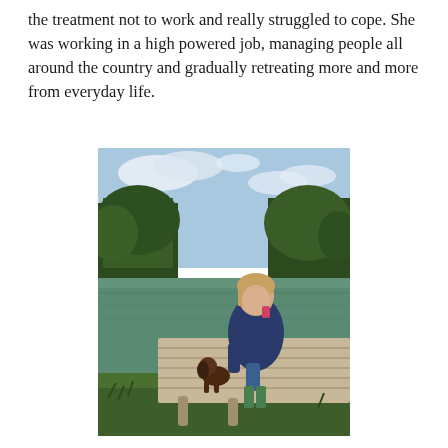the treatment not to work and really struggled to cope. She was working in a high powered job, managing people all around the country and gradually retreating more and more from everyday life.
[Figure (photo): A woman crouching on a wooden dock/jetty over a lake or river, petting a small dark brown dog (cockapoo or similar). She is wearing a dark blue jacket, jeans, and green wellington boots. Trees and a partly cloudy sky are in the background.]